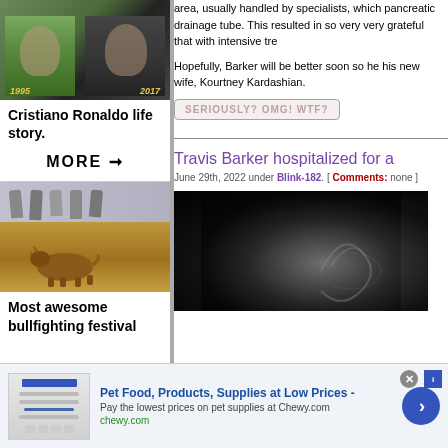[Figure (photo): Cristiano Ronaldo collage showing photos from 1995 and 2017 with year labels in yellow italic text]
Cristiano Ronaldo life story.
MORE →
[Figure (photo): Bullfighting festival photo showing runners and a bull]
Most awesome bullfighting festival
area, usually handled by specialists, which pancreatic drainage tube. This resulted in so very very grateful that with intensive tre
Hopefully, Barker will be better soon so he his new wife, Kourtney Kardashian.
[Figure (other): SERIOUSLY? OMG! WTF? button/badge]
Travis Barker hospitalized for a
June 29th, 2022 under Blink-182. [ Comments: none ]
[Figure (photo): Dark video thumbnail with swirling light pattern]
[Figure (other): Advertisement banner: Pet Food, Products, Supplies at Low Prices - Pay the lowest prices on pet supplies at Chewy.com]
Pet Food, Products, Supplies at Low Prices -
Pay the lowest prices on pet supplies at Chewy.com
chewy.com